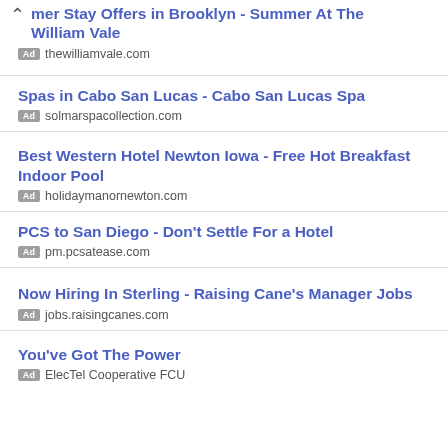mer Stay Offers in Brooklyn - Summer At The William Vale
Ad thewilliamvale.com
Spas in Cabo San Lucas - Cabo San Lucas Spa
Ad solmarspacollection.com
Best Western Hotel Newton Iowa - Free Hot Breakfast Indoor Pool
Ad holidaymanornewton.com
PCS to San Diego - Don't Settle For a Hotel
Ad pm.pcsatease.com
Now Hiring In Sterling - Raising Cane's Manager Jobs
Ad jobs.raisingcanes.com
You've Got The Power
Ad ElecTel Cooperative FCU